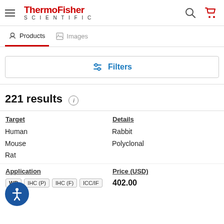[Figure (logo): ThermoFisher Scientific logo with hamburger menu, search icon, and cart icon]
Products | Images tabs
Filters
221 results
| Target | Details |
| --- | --- |
| Human | Rabbit |
| Mouse | Polyclonal |
| Rat |  |
| Application | Price (USD) |
| --- | --- |
| WB  IHC (P)  IHC (F)  ICC/IF | 402.00 |